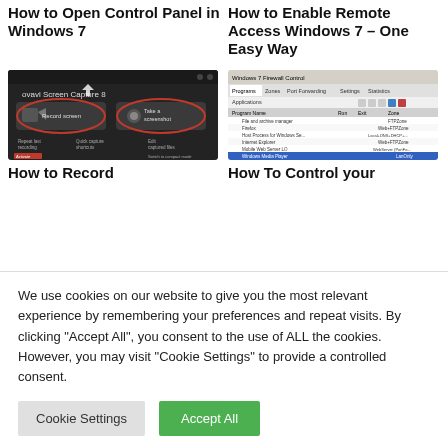How to Open Control Panel in Windows 7
How to Enable Remote Access Windows 7 – One Easy Way
[Figure (screenshot): Novavi Screen Capture 8 application showing Record screen and Take a screenshot buttons with red circle highlights]
[Figure (screenshot): Windows 7 Firewall Control application showing Programs, Zones, Port Forwarding, Settings, Statistics tabs and a list of applications]
How to Record
How To Control your
We use cookies on our website to give you the most relevant experience by remembering your preferences and repeat visits. By clicking "Accept All", you consent to the use of ALL the cookies. However, you may visit "Cookie Settings" to provide a controlled consent.
Cookie Settings
Accept All